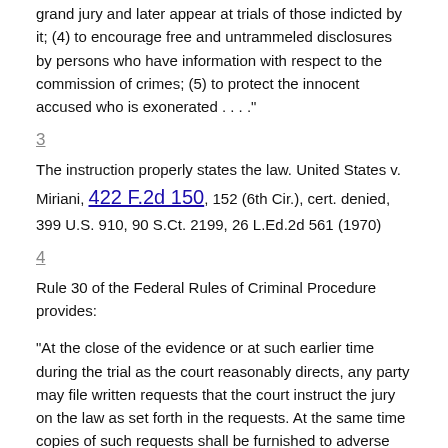grand jury and later appear at trials of those indicted by it; (4) to encourage free and untrammeled disclosures by persons who have information with respect to the commission of crimes; (5) to protect the innocent accused who is exonerated . . . ."
3
The instruction properly states the law. United States v. Miriani, 422 F.2d 150, 152 (6th Cir.), cert. denied, 399 U.S. 910, 90 S.Ct. 2199, 26 L.Ed.2d 561 (1970)
4
Rule 30 of the Federal Rules of Criminal Procedure provides:
"At the close of the evidence or at such earlier time during the trial as the court reasonably directs, any party may file written requests that the court instruct the jury on the law as set forth in the requests. At the same time copies of such requests shall be furnished to adverse parties. The court shall inform counsel of its proposed action upon the requests prior to their arguments to the jury, but the court shall instruct the jury after the arguments are completed. No party may assign as error any portion of the charge or omission therefrom unless he objects thereto before the